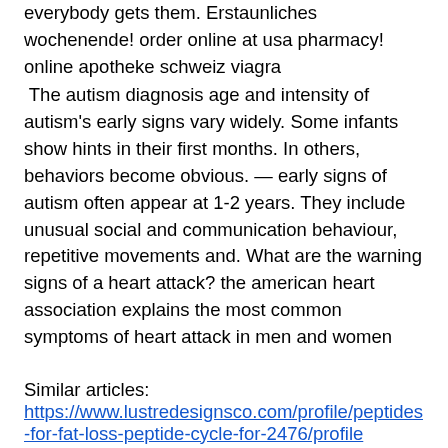everybody gets them. Erstaunliches wochenende! order online at usa pharmacy! online apotheke schweiz viagra
The autism diagnosis age and intensity of autism's early signs vary widely. Some infants show hints in their first months. In others, behaviors become obvious. — early signs of autism often appear at 1-2 years. They include unusual social and communication behaviour, repetitive movements and. What are the warning signs of a heart attack? the american heart association explains the most common symptoms of heart attack in men and women
Similar articles:
https://www.lustredesignsco.com/profile/peptides-for-fat-loss-peptide-cycle-for-2476/profile https://www.pjfay.com/profile/do-sarms-cause-weight-loss-side-effects-8582/profile https://www.phase2careers.org/profile/prohor